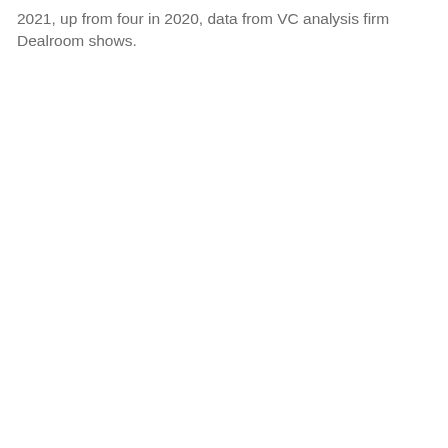2021, up from four in 2020, data from VC analysis firm Dealroom shows.